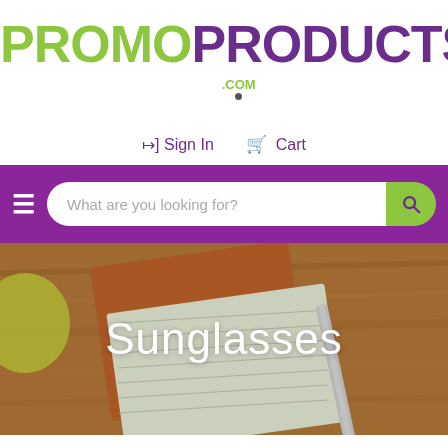[Figure (logo): PromoProducts.com logo with PROMO in green and PRODUCTS in purple, large bold uppercase letters, with .COM in small green text top right and a small dark dot below]
→] Sign In  🛒 Cart
[Figure (screenshot): Purple navigation bar with hamburger menu icon on left and a rounded search box reading 'What are you looking for?' with a green search button on right]
[Figure (photo): Hero image showing a wooden desk surface with a green cup, orange leather notebook, lined paper notepad, and a pen with 'YOUR LOGO HERE' text. White text 'Sunglasses' overlaid in the center.]
Sunglasses